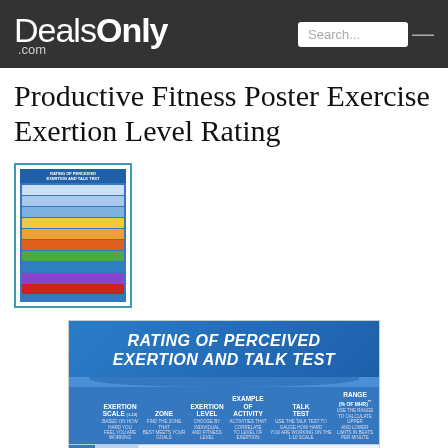DealsOnly.com | Search...
Productive Fitness Poster Exercise Exertion Level Rating
[Figure (photo): Thumbnail image of the Rating of Perceived Exertion and Talk Test poster, showing a colorful table with multiple exercise intensity zones]
[Figure (infographic): Rating of Perceived Exertion and Talk Test chart showing columns: Exertion Scale, Zone, Exertion Level, Example of Activity, Talk Test, Range (% of MHR). Two data rows visible: Row 1 - Inactive zone, Very Light, Standing, Normal breathing can talk normally, 40%-45%; Row 2 - Inactive zone, Light, Walking, Normal breathing, 46%-50%]